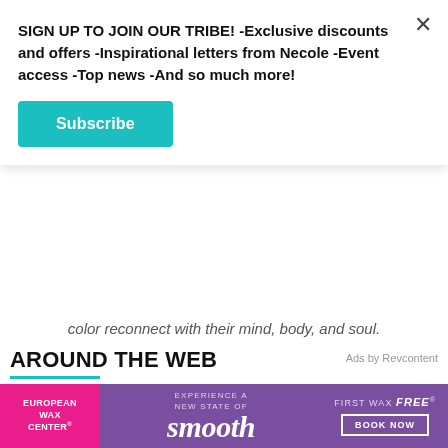SIGN UP TO JOIN OUR TRIBE! -Exclusive discounts and offers -Inspirational letters from Necole -Event access -Top news -And so much more!
Subscribe
color reconnect with their mind, body, and soul.
AROUND THE WEB
Ads by Revcontent
[Figure (photo): Close-up photo of a person holding sunglasses on a sandy beach background]
[Figure (infographic): European Wax Center advertisement banner: pink left panel with 'EUROPEAN WAX CENTER', purple center with 'EXPERIENCE A NEW STATE OF smooth', right side with 'FIRST WAX free BOOK NOW']